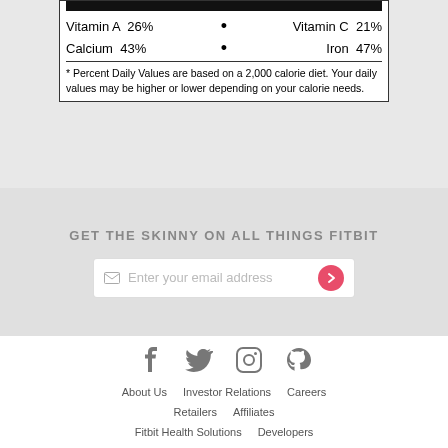| Vitamin A  26% | • | Vitamin C  21% |
| Calcium  43% | • | Iron  47% |
* Percent Daily Values are based on a 2,000 calorie diet. Your daily values may be higher or lower depending on your calorie needs.
GET THE SKINNY ON ALL THINGS FITBIT
Enter your email address
About Us   Investor Relations   Careers
Retailers   Affiliates
Fitbit Health Solutions   Developers
Help